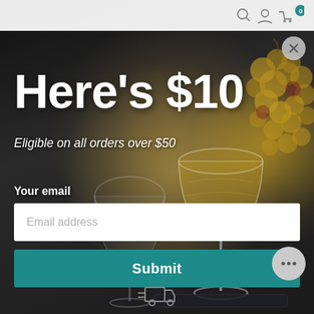[Figure (screenshot): Dark background photo of cocktail/champagne coupe glasses on a tray with blurred golden grapes in the top right corner, serving as a modal overlay background]
Here's $10
Eligible on all orders over $50
Your email
Email address
Submit